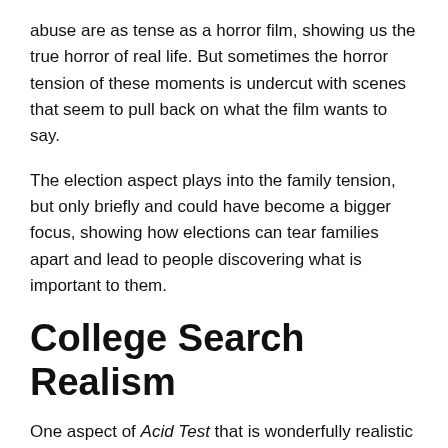abuse are as tense as a horror film, showing us the true horror of real life. But sometimes the horror tension of these moments is undercut with scenes that seem to pull back on what the film wants to say.
The election aspect plays into the family tension, but only briefly and could have become a bigger focus, showing how elections can tear families apart and lead to people discovering what is important to them.
College Search Realism
One aspect of Acid Test that is wonderfully realistic is the attitude toward college applications and deciding our future at such a young age. Jenny is a smart student who wants to go to Harvard, but as she gets further into the riot grrl scene, she realizes that maybe this isn't her, but more the dreams of her parents – mainly her father who disrespects her choices by